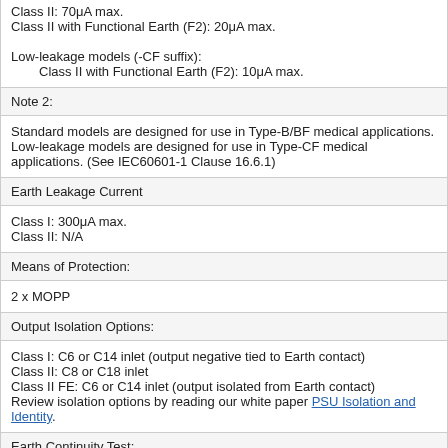Class II: 70μA max.
Class II with Functional Earth (F2): 20μA max.
Low-leakage models (-CF suffix):
    Class II with Functional Earth (F2): 10μA max.
Note 2:
Standard models are designed for use in Type-B/BF medical applications. Low-leakage models are designed for use in Type-CF medical applications. (See IEC60601-1 Clause 16.6.1)
Earth Leakage Current
Class I: 300μA max.
Class II: N/A
Means of Protection:
2 x MOPP
Output Isolation Options:
Class I: C6 or C14 inlet (output negative tied to Earth contact)
Class II: C8 or C18 inlet
Class II FE: C6 or C14 inlet (output isolated from Earth contact)
Review isolation options by reading our white paper PSU Isolation and Identity.
Earth Continuity Test: